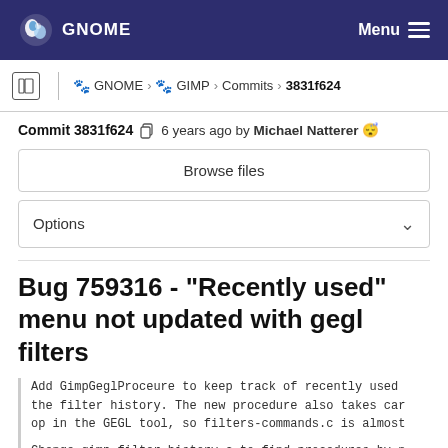GNOME   Menu
GNOME > GIMP > Commits > 3831f624
Commit 3831f624  6 years ago by Michael Natterer 😴
Browse files
Options
Bug 759316 - "Recently used" menu not updated with gegl filters
Add GimpGeglProceure to keep track of recently used the filter history. The new procedure also takes car op in the GEGL tool, so filters-commands.c is almost
Change gimp-filter-history.c to find procedures by n comparing pointers.